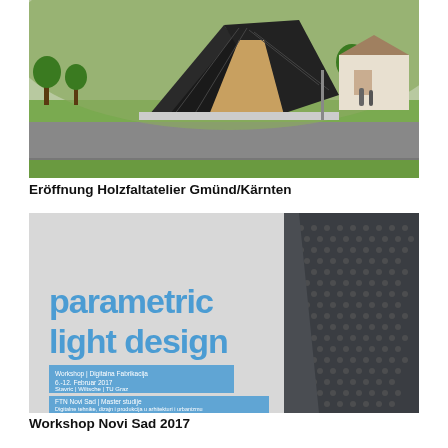[Figure (photo): Outdoor photo of a modern wooden folding pavilion structure on a grass area near a road, with trees and a historic building in the background. Alpine setting.]
Eröffnung Holzfaltatelier Gmünd/Kärnten
[Figure (photo): Promotional image for 'parametric light design' workshop. Left side shows light blue text on grey background reading 'parametric light design' with workshop details below. Right side shows a dark perforated metal panel with triangular/hexagonal pattern holes.]
Workshop Novi Sad 2017